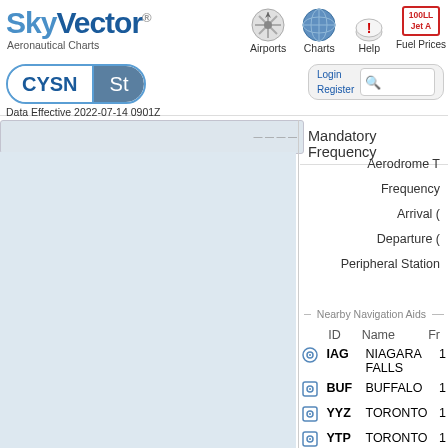SkyVector Aeronautical Charts — Airports | Charts | Help | Fuel Prices
CYSN St
Data Effective 2022-07-14 0901Z
Login
Register
Mandatory Frequency
Aerodrome T
Frequency
Arrival (
Departure (
Peripheral Station
Nearby Navigation Aids
|  | ID | Name | Fr |
| --- | --- | --- | --- |
| ⊙ | IAG | NIAGARA FALLS | 1 |
| ⊡ | BUF | BUFFALO | 1 |
| ⊡ | YYZ | TORONTO | 1 |
| ⊡ | YTP | TORONTO | 1 |